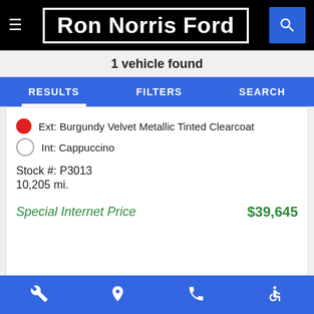Ron Norris Ford
1 vehicle found
RESULTS  FILTERS  SEARCH
Ext: Burgundy Velvet Metallic Tinted Clearcoat
Int: Cappuccino
Stock #: P3013
10,205 mi.
Special Internet Price   $39,645
CHECK AVAILABILITY
Wrench icon  Location icon  Phone icon  Accessibility icon